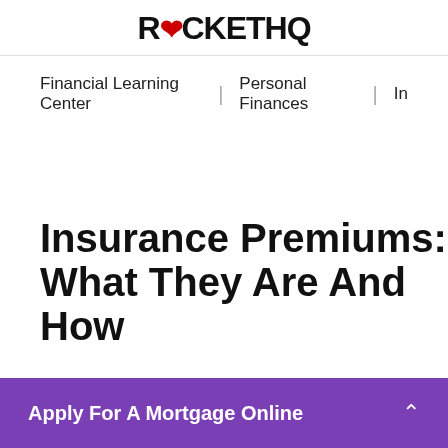ROCKETHQ
Financial Learning Center | Personal Finances | In
Insurance Premiums: What They Are And How
Apply For A Mortgage Online